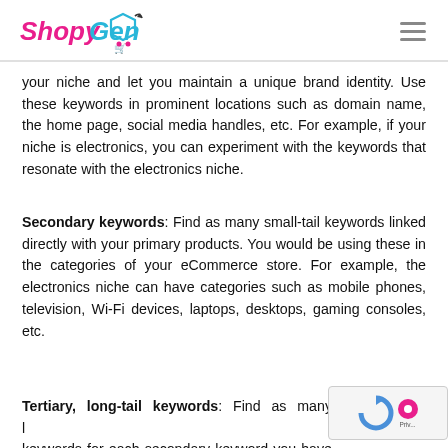ShopyGen
your niche and let you maintain a unique brand identity. Use these keywords in prominent locations such as domain name, the home page, social media handles, etc. For example, if your niche is electronics, you can experiment with the keywords that resonate with the electronics niche.
Secondary keywords: Find as many small-tail keywords linked directly with your primary products. You would be using these in the categories of your eCommerce store. For example, the electronics niche can have categories such as mobile phones, television, Wi-Fi devices, laptops, desktops, gaming consoles, etc.
Tertiary, long-tail keywords: Find as many keywords for each secondary keyword you have just found.